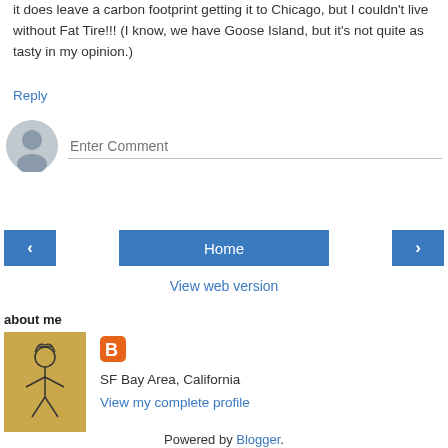it does leave a carbon footprint getting it to Chicago, but I couldn't live without Fat Tire!!! (I know, we have Goose Island, but it's not quite as tasty in my opinion.)
Reply
[Figure (other): Comment input area with user avatar (gray silhouette circle) and 'Enter Comment' text input field with bottom border]
[Figure (other): Navigation bar with left arrow button, Home button, and right arrow button, all styled in blue]
View web version
about me
[Figure (illustration): Thumbnail image of a stick figure drawing on yellow-brown background]
[Figure (logo): Blogger orange square logo with white 'B']
SF Bay Area, California
View my complete profile
Powered by Blogger.